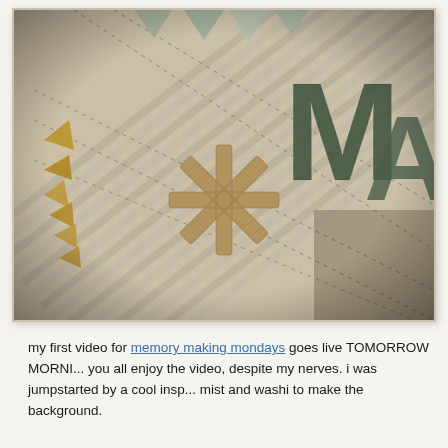[Figure (photo): A close-up photo of a scrapbooking/crafting project showing a decorative layout with striped paper, patterned paper letter cutouts (M, A visible), a wooden asterisk/snowflake embellishment in the center, bunting flags in yellow and mint green, and stitched dashed lines connecting elements. The photo has a warm vintage filter.]
my first video for memory making mondays goes live TOMORROW MORNI... you all enjoy the video, despite my nerves. i was jumpstarted by a cool insp... mist and washi to make the background.